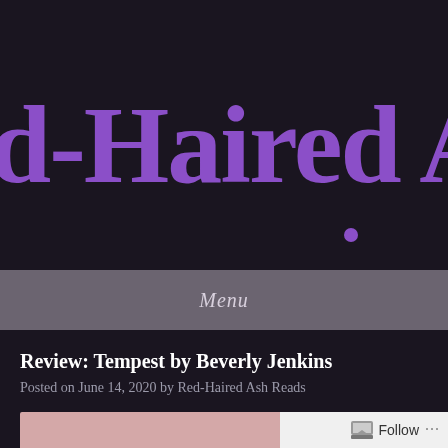d-Haired A (partial blog title: Red-Haired Ash Reads)
Menu
Review: Tempest by Beverly Jenkins
Posted on June 14, 2020 by Red-Haired Ash Reads
[Figure (photo): Partial view of a book cover image with pink/mauve tones at the bottom of the page]